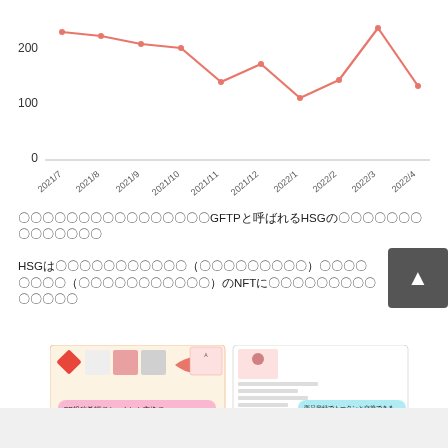[Figure (line-chart): ]
〇〇〇〇〇〇〇〇〇〇〇〇〇〇〇〇GFTPと呼ばれるHSGの〇〇〇〇〇〇〇〇〇〇〇〇〇〇
HSGは〇〇〇〇〇〇〇〇〇〇〇（〇〇〇〇〇〇〇〇〇）〇〇〇〇〇〇〇〇（〇〇〇〇〇〇〇〇〇〇〇）のNFTに〇〇〇〇〇〇〇〇〇〇〇
[Figure (screenshot): Screenshot showing two mobile app screens with Japanese text labels about PR posting and token exchange points]